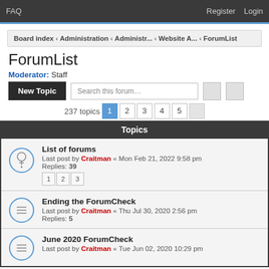FAQ   Register   Login
Board index < Administration < Administr... < Website A... < ForumList
ForumList
Moderator: Staff
New Topic   Search this forum...
237 topics  1  2  3  4  5
Topics
List of forums
Last post by Craitman « Mon Feb 21, 2022 9:58 pm
Replies: 39
Ending the ForumCheck
Last post by Craitman « Thu Jul 30, 2020 2:56 pm
Replies: 5
June 2020 ForumCheck
Last post by Craitman « Tue Jun 02, 2020 10:29 pm